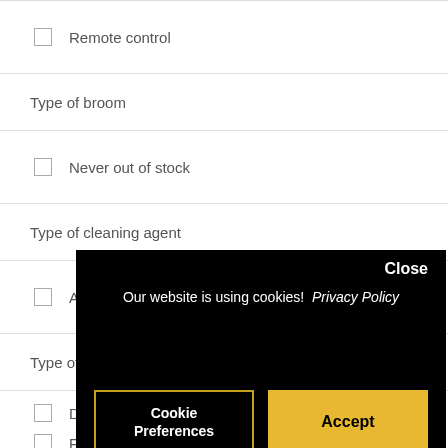Remote control
Type of broom
Never out of stock
Type of cleaning agent
Adult
Type of
Does
For
[Figure (screenshot): Cookie consent overlay on black background with 'Close' button, message 'Our website is using cookies! Privacy Policy', 'Cookie Preferences' button with gold border, and 'Accept' button with gold background]